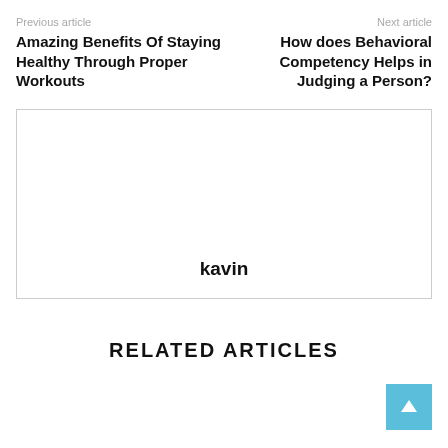Previous article / Next article
Amazing Benefits Of Staying Healthy Through Proper Workouts
How does Behavioral Competency Helps in Judging a Person?
[Figure (other): Author profile box with name 'kavin']
RELATED ARTICLES